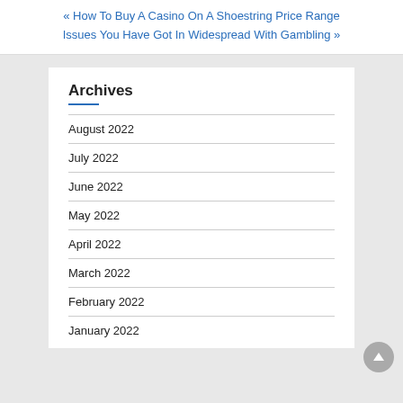« How To Buy A Casino On A Shoestring Price Range
Issues You Have Got In Widespread With Gambling »
Archives
August 2022
July 2022
June 2022
May 2022
April 2022
March 2022
February 2022
January 2022